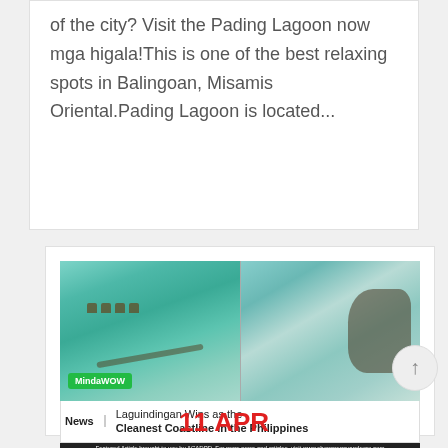of the city? Visit the Pading Lagoon now mga higala!This is one of the best relaxing spots in Balingoan, Misamis Oriental.Pading Lagoon is located...
[Figure (photo): Aerial and ground-level photos of a coastal/lagoon area. Left half shows overwater walkways and huts in turquoise water. Right half shows rocky coastline with people wading. MindaWOW badge in lower left. Caption below reads: News | Laguindingan Wins as the Cleanest Coastline in the Philippines. Footer text: Featured Article brought to you by ACADPD. For more news and articles, visit www.showmegayandeoro.com]
11 APR